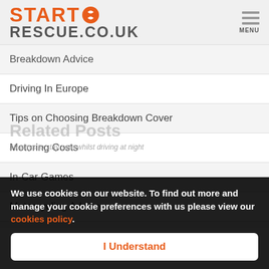START RESCUE.CO.UK
Breakdown Advice
Driving In Europe
Tips on Choosing Breakdown Cover
Motoring Costs
In-Car Games
Motorcycling Advice
We use cookies on our website. To find out more and manage your cookie preferences with us please view our cookies policy.
I Understand